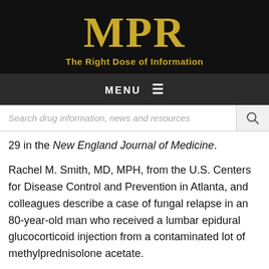MPR – The Right Dose of Information
29 in the New England Journal of Medicine.
Rachel M. Smith, MD, MPH, from the U.S. Centers for Disease Control and Prevention in Atlanta, and colleagues describe a case of fungal relapse in an 80-year-old man who received a lumbar epidural glucocorticoid injection from a contaminated lot of methylprednisolone acetate.
The researchers found that the patient presented with headache and neck pain (Oct. 4, 2012). Lumbar puncture showed 119 white cells/mL in the cerebrospinal fluid (CSF)